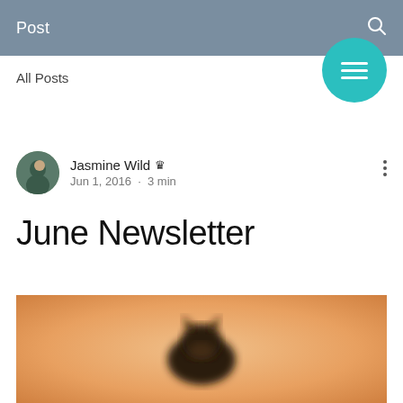Post
All Posts
Jasmine Wild  👑
Jun 1, 2016  ·  3 min
June Newsletter
[Figure (photo): A blurred warm-toned image with an orange/amber background and a dark silhouette of what appears to be a bird or animal shape in the center.]